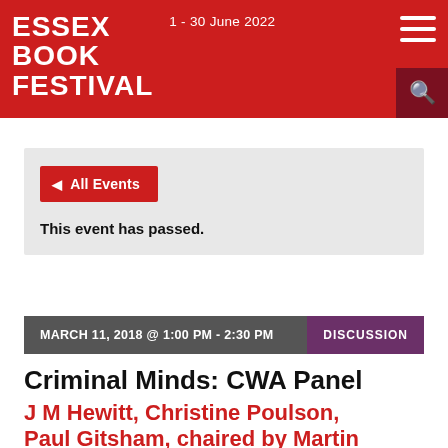ESSEX BOOK FESTIVAL
1 - 30 June 2022
All Events
This event has passed.
MARCH 11, 2018 @ 1:00 PM - 2:30 PM
DISCUSSION
Criminal Minds: CWA Panel
J M Hewitt, Christine Poulson, Paul Gitsham, chaired by Martin